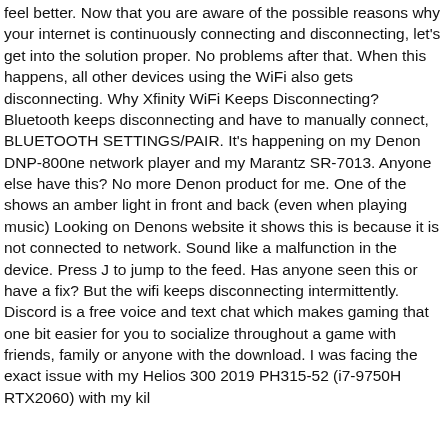feel better. Now that you are aware of the possible reasons why your internet is continuously connecting and disconnecting, let's get into the solution proper. No problems after that. When this happens, all other devices using the WiFi also gets disconnecting. Why Xfinity WiFi Keeps Disconnecting? Bluetooth keeps disconnecting and have to manually connect, BLUETOOTH SETTINGS/PAIR. It's happening on my Denon DNP-800ne network player and my Marantz SR-7013. Anyone else have this? No more Denon product for me. One of the shows an amber light in front and back (even when playing music) Looking on Denons website it shows this is because it is not connected to network. Sound like a malfunction in the device. Press J to jump to the feed. Has anyone seen this or have a fix? But the wifi keeps disconnecting intermittently. Discord is a free voice and text chat which makes gaming that one bit easier for you to socialize throughout a game with friends, family or anyone with the download. I was facing the exact issue with my Helios 300 2019 PH315-52 (i7-9750H RTX2060) with my killer